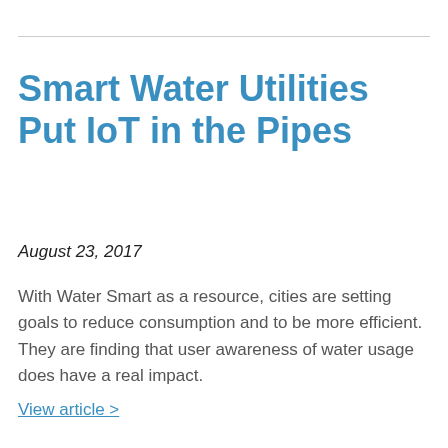Smart Water Utilities Put IoT in the Pipes
August 23, 2017
With Water Smart as a resource, cities are setting goals to reduce consumption and to be more efficient. They are finding that user awareness of water usage does have a real impact.
View article >